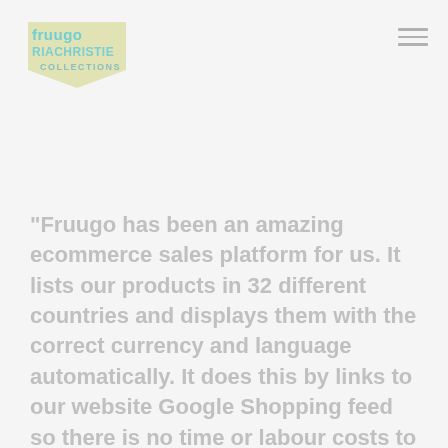[Figure (logo): Fruugo logo above RiaChristie Collections badge/shield logo in light olive/yellow-green color]
“Fruugo has been an amazing ecommerce sales platform for us. It lists our products in 32 different countries and displays them with the correct currency and language automatically. It does this by links to our website Google Shopping feed so there is no time or labour costs to list the products. When we update prices, information, pictures or stock status on our website this automatically updates on Fruugo’s sites. It is an amazing new sales channel for us, we have seen a great increase in our export sales, in particular to Denmark, Norway, Sweden, Australia and